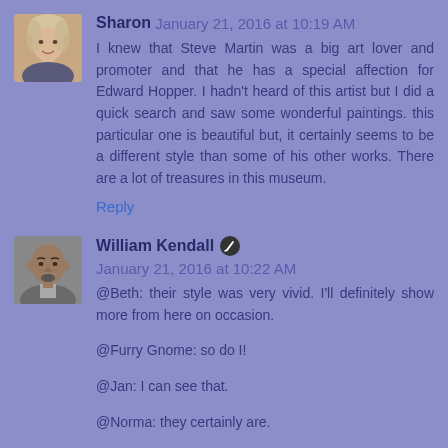[Figure (photo): Avatar photo of Sharon, a woman with light hair, in a small square thumbnail]
Sharon January 21, 2016 at 10:19 AM
I knew that Steve Martin was a big art lover and promoter and that he has a special affection for Edward Hopper. I hadn't heard of this artist but I did a quick search and saw some wonderful paintings. this particular one is beautiful but, it certainly seems to be a different style than some of his other works. There are a lot of treasures in this museum.
Reply
[Figure (photo): Avatar photo of William Kendall, a man in a grey jacket, in a small square thumbnail]
William Kendall [pen icon] January 21, 2016 at 10:22 AM
@Beth: their style was very vivid. I'll definitely show more from here on occasion.
@Furry Gnome: so do I!
@Jan: I can see that.
@Norma: they certainly are.